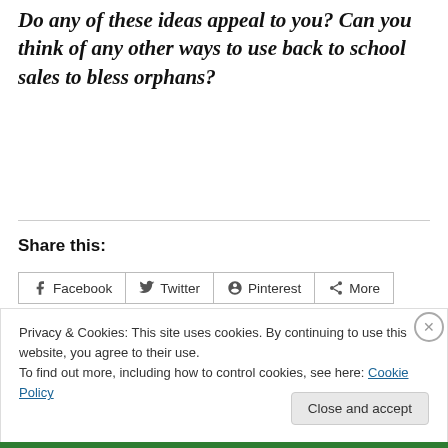Do any of these ideas appeal to you? Can you think of any other ways to use back to school sales to bless orphans?
Share this:
[Figure (screenshot): Social share buttons: Facebook, Twitter, Pinterest, More]
Privacy & Cookies: This site uses cookies. By continuing to use this website, you agree to their use.
To find out more, including how to control cookies, see here: Cookie Policy
Close and accept